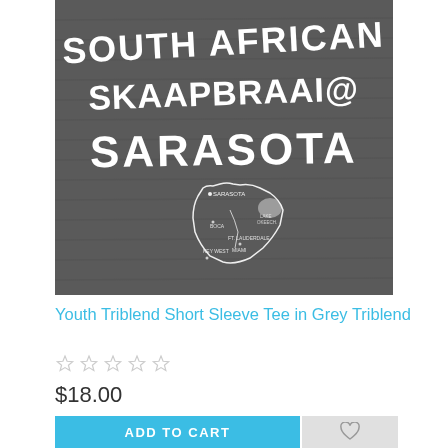[Figure (photo): A grey triblend t-shirt with white text and graphic. Text reads 'South African Skaapbraai Sarasota' in stylized lettering shaped like the African continent. Below the text is a small outline map.]
Youth Triblend Short Sleeve Tee in Grey Triblend
☆☆☆☆☆
$18.00
ADD TO CART